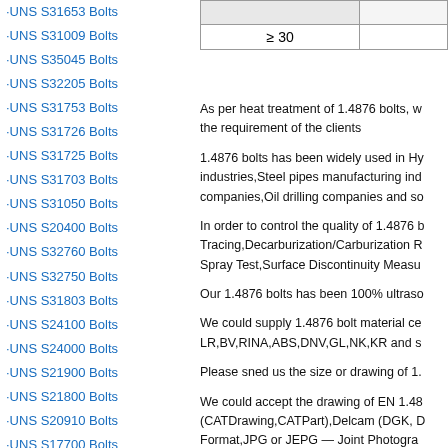·UNS S31653 Bolts
·UNS S31009 Bolts
·UNS S35045 Bolts
·UNS S32205 Bolts
·UNS S31753 Bolts
·UNS S31726 Bolts
·UNS S31725 Bolts
·UNS S31703 Bolts
·UNS S31050 Bolts
·UNS S20400 Bolts
·UNS S32760 Bolts
·UNS S32750 Bolts
·UNS S31803 Bolts
·UNS S24100 Bolts
·UNS S24000 Bolts
·UNS S21900 Bolts
·UNS S21800 Bolts
·UNS S20910 Bolts
·UNS S17700 Bolts
·UNS S17400 Bolts
·UNS S15700 Bolts
·UNS S15500 Bolts
·UNS S13800 Bolts
|  |
| --- |
| ≥ 30 |
As per heat treatment of 1.4876 bolts, we could customize as per the requirement of the clients
1.4876 bolts has been widely used in Hydropower industries,Steel pipes manufacturing industries,Oil companies,Oil drilling companies and so on.
In order to control the quality of 1.4876 bolts, Tracing,Decarburization/Carburization R Spray Test,Surface Discontinuity Measu
Our 1.4876 bolts has been 100% ultraso
We could supply 1.4876 bolt material ce LR,BV,RINA,ABS,DNV,GL,NK,KR and s
Please sned us the size or drawing of 1.
We could accept the drawing of EN 1.48 (CATDrawing,CATPart),Delcam (DGK, D Format,JPG or JEPG — Joint Photogra